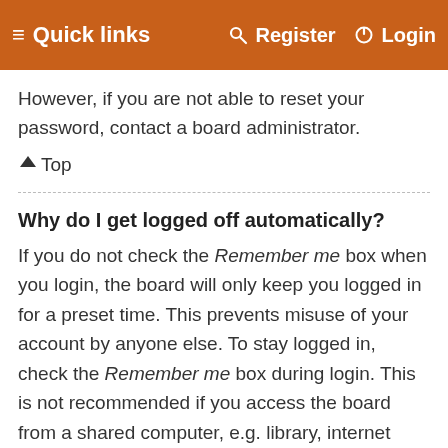≡ Quick links   🔍 Register  ⏻ Login
However, if you are not able to reset your password, contact a board administrator.
↑Top
Why do I get logged off automatically?
If you do not check the Remember me box when you login, the board will only keep you logged in for a preset time. This prevents misuse of your account by anyone else. To stay logged in, check the Remember me box during login. This is not recommended if you access the board from a shared computer, e.g. library, internet cafe, university computer lab, etc. If you do not see this